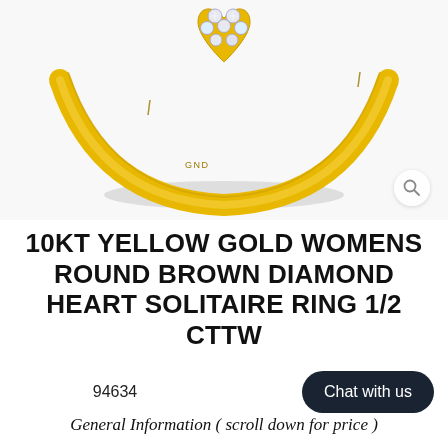[Figure (photo): Close-up photo of a 10kt yellow gold heart solitaire ring with round brown diamonds, set against a white background. The ring shows a gold band with a heart-shaped cluster of white/brown diamonds at the top. The letters GND are visible on the inner band.]
10KT YELLOW GOLD WOMENS ROUND BROWN DIAMOND HEART SOLITAIRE RING 1/2 CTTW
94634
Chat with us
General Information ( scroll down for price )